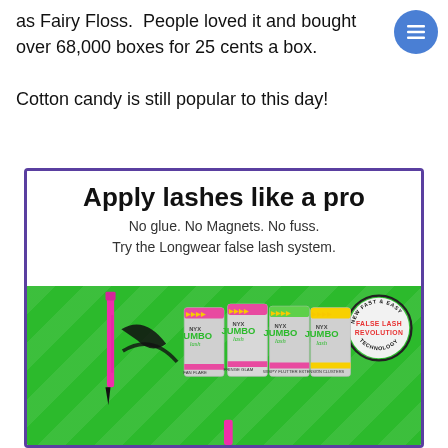as Fairy Floss.  People loved it and bought over 68,000 boxes for 25 cents a box.

Cotton candy is still popular to this day!
[Figure (advertisement): NYX Jumbo Lash advertisement. Text reads: 'Apply lashes like a pro. No glue. No Magnets. No fuss. Try the Longwear false lash system.' Shows NYX Jumbo Lash products (Fan Flare, Fringe Glam, Wispy Flutter, Extension Clusters) against a green background with a pink eyeliner pen. Badge says 'NEW FAST & EASY FALSE LASH REVOLUTION TECHNOLOGY'.]